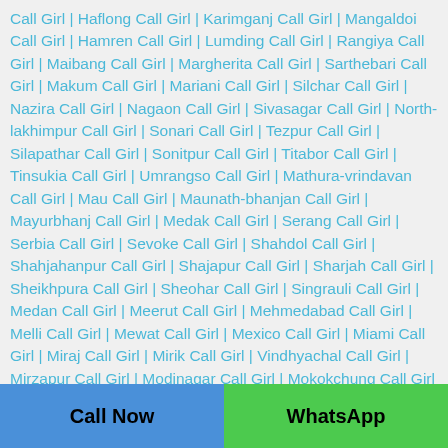Call Girl | Haflong Call Girl | Karimganj Call Girl | Mangaldoi Call Girl | Hamren Call Girl | Lumding Call Girl | Rangiya Call Girl | Maibang Call Girl | Margherita Call Girl | Sarthebari Call Girl | Makum Call Girl | Mariani Call Girl | Silchar Call Girl | Nazira Call Girl | Nagaon Call Girl | Sivasagar Call Girl | North-lakhimpur Call Girl | Sonari Call Girl | Tezpur Call Girl | Silapathar Call Girl | Sonitpur Call Girl | Titabor Call Girl | Tinsukia Call Girl | Umrangso Call Girl | Mathura-vrindavan Call Girl | Mau Call Girl | Maunath-bhanjan Call Girl | Mayurbhanj Call Girl | Medak Call Girl | Serang Call Girl | Serbia Call Girl | Sevoke Call Girl | Shahdol Call Girl | Shahjahanpur Call Girl | Shajapur Call Girl | Sharjah Call Girl | Sheikhpura Call Girl | Sheohar Call Girl | Singrauli Call Girl | Medan Call Girl | Meerut Call Girl | Mehmedabad Call Girl | Melli Call Girl | Mewat Call Girl | Mexico Call Girl | Miami Call Girl | Miraj Call Girl | Mirik Call Girl | Vindhyachal Call Girl | Mirzapur Call Girl | Modinagar Call Girl | Mokokchung Call Girl | Mon Call Girl | Montenegro Call Girl | Moodabidri Call Girl | Montreal Call Girl | Moradabad Call Girl |
Call Now | WhatsApp